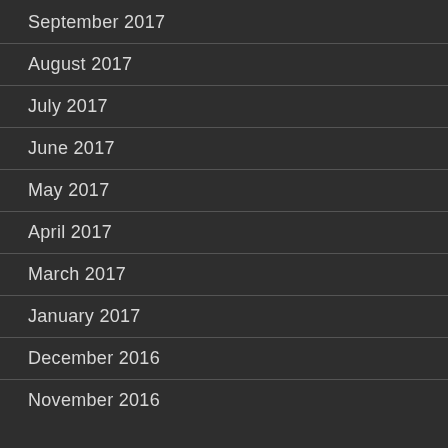September 2017
August 2017
July 2017
June 2017
May 2017
April 2017
March 2017
January 2017
December 2016
November 2016